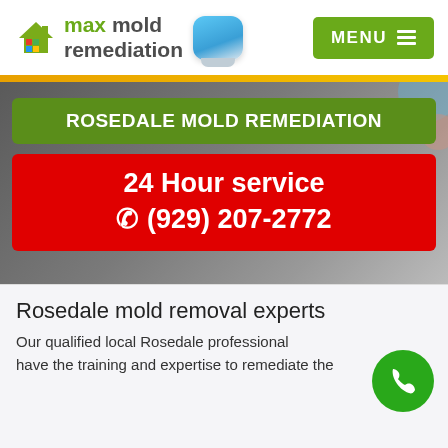[Figure (logo): Max Mold Remediation logo with house icon and colorful grid icon, plus app icon]
[Figure (illustration): Green MENU button with three horizontal lines (hamburger menu icon)]
[Figure (illustration): Gold/yellow horizontal divider bar]
ROSEDALE MOLD REMEDIATION
24 Hour service
☎ (929) 207-2772
Rosedale mold removal experts
Our qualified local Rosedale professional have the training and expertise to remediate the